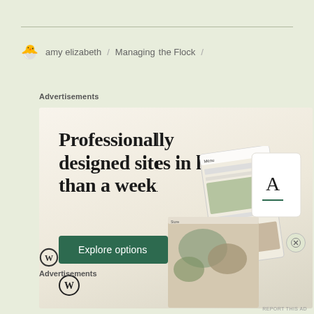amy elizabeth / Managing the Flock /
Advertisements
[Figure (screenshot): WordPress.com advertisement showing website mockups with text 'Professionally designed sites in less than a week' and an 'Explore options' button]
Advertisements